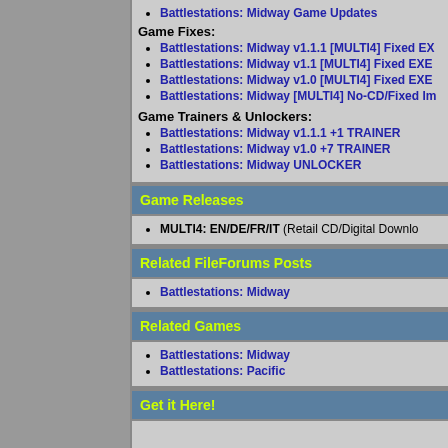Battlestations: Midway Game Updates
Game Fixes:
Battlestations: Midway v1.1.1 [MULTI4] Fixed EX
Battlestations: Midway v1.1 [MULTI4] Fixed EXE
Battlestations: Midway v1.0 [MULTI4] Fixed EXE
Battlestations: Midway [MULTI4] No-CD/Fixed Im
Game Trainers & Unlockers:
Battlestations: Midway v1.1.1 +1 TRAINER
Battlestations: Midway v1.0 +7 TRAINER
Battlestations: Midway UNLOCKER
Game Releases
MULTI4: EN/DE/FR/IT (Retail CD/Digital Downlo
Related FileForums Posts
Battlestations: Midway
Related Games
Battlestations: Midway
Battlestations: Pacific
Get it Here!